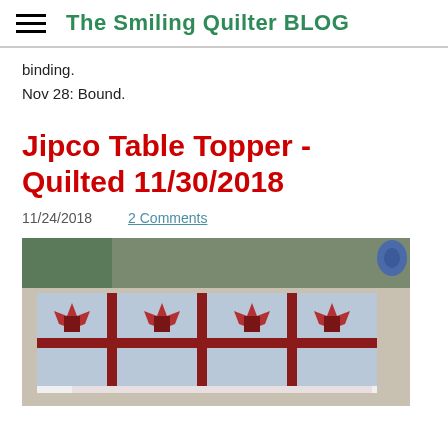The Smiling Quilter BLOG
binding.
Nov 28: Bound.
Jipco Table Topper - Quilted 11/30/2018
11/24/2018    2 Comments
[Figure (photo): Photo of a quilt table topper with red star blocks on a blue-grey background, draped over a table in a quilting studio.]